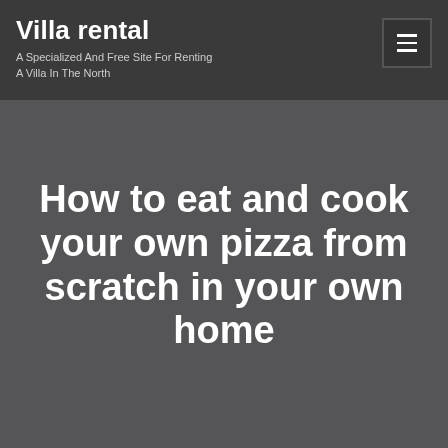Villa rental
A Specialized And Free Site For Renting A Villa In The North
How to eat and cook your own pizza from scratch in your own home